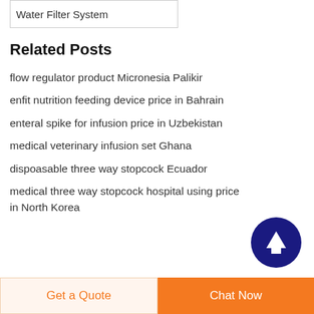Water Filter System
Related Posts
flow regulator product Micronesia Palikir
enfit nutrition feeding device price in Bahrain
enteral spike for infusion price in Uzbekistan
medical veterinary infusion set Ghana
dispoasable three way stopcock Ecuador
medical three way stopcock hospital using price in North Korea
[Figure (other): Scroll to top button — dark navy blue circle with white upward arrow]
Get a Quote
Chat Now